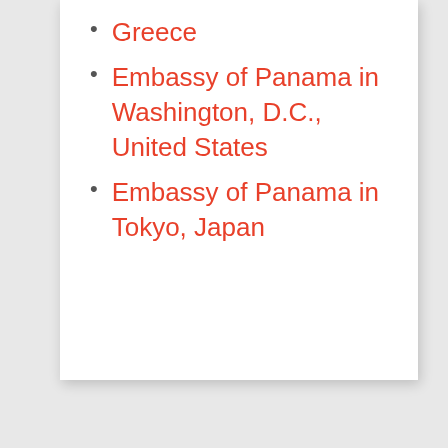Greece
Embassy of Panama in Washington, D.C., United States
Embassy of Panama in Tokyo, Japan